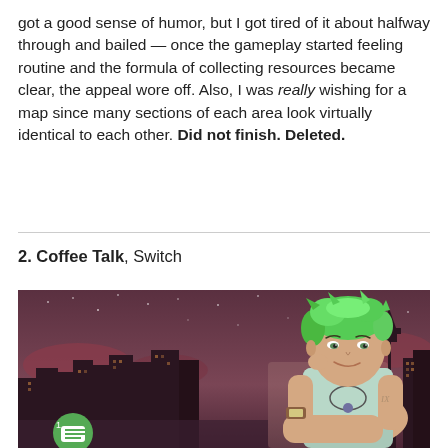got a good sense of humor, but I got tired of it about halfway through and bailed — once the gameplay started feeling routine and the formula of collecting resources became clear, the appeal wore off. Also, I was really wishing for a map since many sections of each area look virtually identical to each other. Did not finish. Deleted.
2. Coffee Talk, Switch
[Figure (illustration): Pixel art / illustrated image of a young woman with bright green short hair, wearing a light blue tank top and a necklace, leaning forward with her chin resting near her hand. She is in front of a stylized Seattle skyline at dusk/night with a purple-brown sky, city buildings silhouetted, and the Space Needle visible on the right. A circular green chat bubble icon is in the lower left corner.]